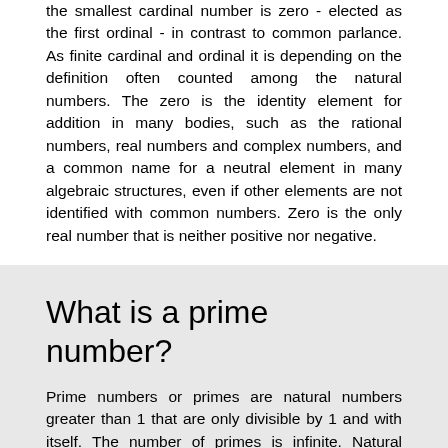the smallest cardinal number is zero - elected as the first ordinal - in contrast to common parlance. As finite cardinal and ordinal it is depending on the definition often counted among the natural numbers. The zero is the identity element for addition in many bodies, such as the rational numbers, real numbers and complex numbers, and a common name for a neutral element in many algebraic structures, even if other elements are not identified with common numbers. Zero is the only real number that is neither positive nor negative.
What is a prime number?
Prime numbers or primes are natural numbers greater than 1 that are only divisible by 1 and with itself. The number of primes is infinite. Natural numbers bigger than 1 that are not prime numbers are called composite numbers.
What Are Prime Factors?